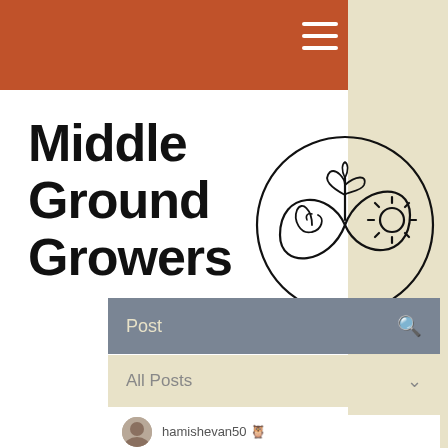Middle Ground Growers
[Figure (logo): Circular infinity-loop style logo with a plant sprout, water droplet spiral, and sun icon drawn in a continuous line art style]
Post
All Posts
hamishevan50 🦉